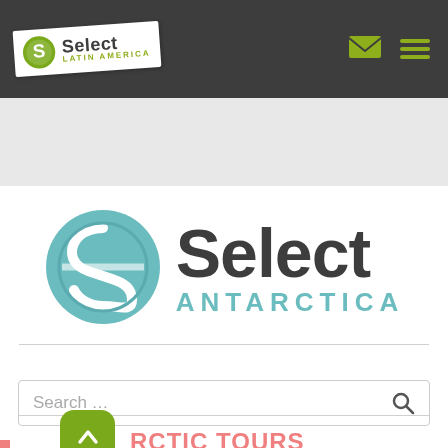[Figure (logo): Select Latin America logo badge in white rotated card on dark navigation bar with email and hamburger menu icons]
[Figure (logo): Select Antarctica large logo with teal circular S icon, bold dark 'Select' text and teal 'ANTARCTICA' subtitle]
Search ...
ANTARCTIC TOURS